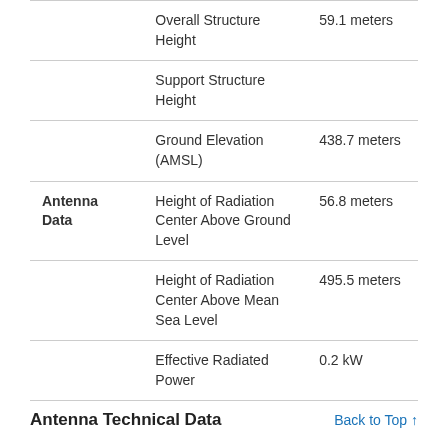|  |  |  |
| --- | --- | --- |
|  | Overall Structure Height | 59.1 meters |
|  | Support Structure Height |  |
|  | Ground Elevation (AMSL) | 438.7 meters |
| Antenna Data | Height of Radiation Center Above Ground Level | 56.8 meters |
|  | Height of Radiation Center Above Mean Sea Level | 495.5 meters |
|  | Effective Radiated Power | 0.2 kW |
Antenna Technical Data
Back to Top ↑